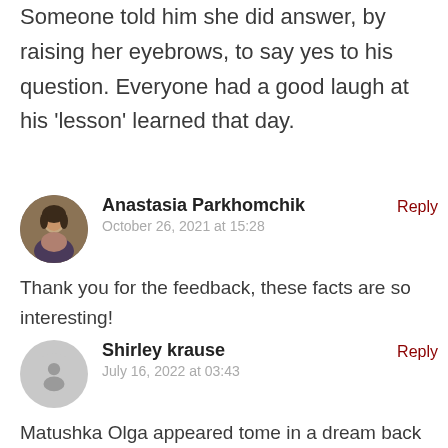Someone told him she did answer, by raising her eyebrows, to say yes to his question. Everyone had a good laugh at his ‘lesson’ learned that day.
Anastasia Parkhomchik
October 26, 2021 at 15:28
Thank you for the feedback, these facts are so interesting!
Shirley krause
July 16, 2022 at 03:43
Matushka Olga appeared tome in a dream back in 1987, after my second miscarriage. I